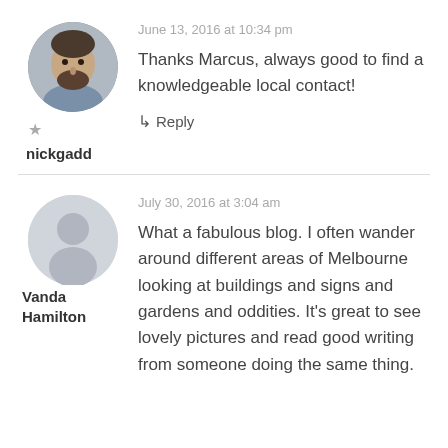[Figure (photo): Circular avatar photo of a man with a beard]
★
nickgadd
June 13, 2016 at 10:34 pm
Thanks Marcus, always good to find a knowledgeable local contact!
↳ Reply
[Figure (illustration): Generic grey circular avatar silhouette]
Vanda Hamilton
July 30, 2016 at 3:04 am
What a fabulous blog. I often wander around different areas of Melbourne looking at buildings and signs and gardens and oddities. It's great to see lovely pictures and read good writing from someone doing the same thing.